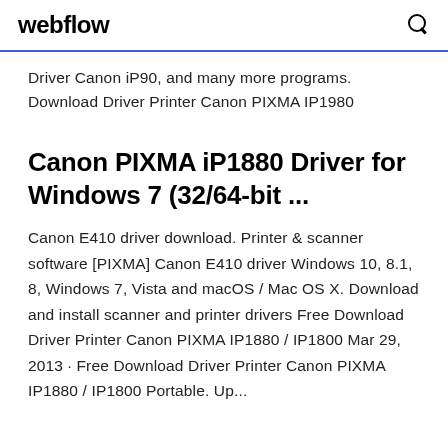webflow
Driver Canon iP90, and many more programs. Download Driver Printer Canon PIXMA IP1980
Canon PIXMA iP1880 Driver for Windows 7 (32/64-bit ...
Canon E410 driver download. Printer & scanner software [PIXMA] Canon E410 driver Windows 10, 8.1, 8, Windows 7, Vista and macOS / Mac OS X. Download and install scanner and printer drivers Free Download Driver Printer Canon PIXMA IP1880 / IP1800 Mar 29, 2013 · Free Download Driver Printer Canon PIXMA IP1880 / IP1800 Portable. Up...